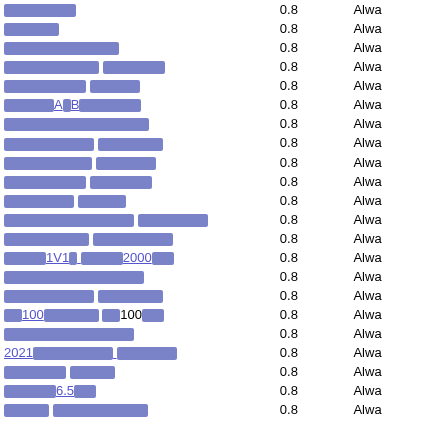| [redacted link] | 0.8 | Alwa |
| [redacted link] | 0.8 | Alwa |
| [redacted link] | 0.8 | Alwa |
| [redacted link] | 0.8 | Alwa |
| [redacted link] | 0.8 | Alwa |
| [redacted link] A B [redacted] | 0.8 | Alwa |
| [redacted link] | 0.8 | Alwa |
| [redacted link] | 0.8 | Alwa |
| [redacted link] | 0.8 | Alwa |
| [redacted link] | 0.8 | Alwa |
| [redacted link] | 0.8 | Alwa |
| [redacted link] | 0.8 | Alwa |
| [redacted link] | 0.8 | Alwa |
| [redacted link] 1V1 [redacted] 2000 [redacted] | 0.8 | Alwa |
| [redacted link] | 0.8 | Alwa |
| [redacted link] | 0.8 | Alwa |
| [redacted] 100 [redacted] 100 [redacted] | 0.8 | Alwa |
| [redacted link] | 0.8 | Alwa |
| 2021 [redacted] | 0.8 | Alwa |
| [redacted link] | 0.8 | Alwa |
| [redacted] 6.5 [redacted] | 0.8 | Alwa |
| [redacted link] | 0.8 | Alwa |